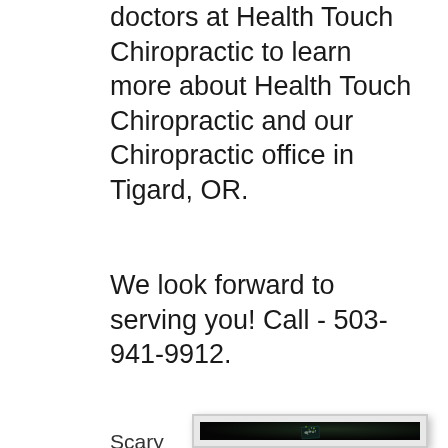doctors at Health Touch Chiropractic to learn more about Health Touch Chiropractic and our Chiropractic office in Tigard, OR.
We look forward to serving you! Call - 503-941-9912.
Scary how technology has bec
[Figure (photo): A smartphone lying flat displaying a glowing world map with multiple bright green location pin markers hovering above it, against a dark background.]